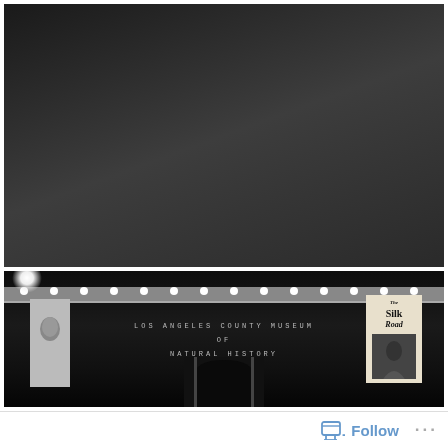[Figure (infographic): Event flyer for First Fridays at Natural History Museum. Dark background with white and yellow text. Shows: FIRST FRIDAYS, NATURAL HISTORY MUSEUM, FRIDAY MARCH 7 2014 | 5:30-10 PM, LIVE PERFORMANCES VIA SAN FERMIN | WILD UP | SON LUX, DEEJAY SETS VIA ANTHONY VALADEZ AND WISEACRE, 900 EXPOSITION BLVD // LOS ANGELES CA 90007 // @NHMLA // WWW.NHM.ORG]
[Figure (photo): Black and white nighttime photograph of the Los Angeles County Museum of Natural History building exterior, showing lights, left banner, museum name sign, and a Silk Road exhibition poster on the right.]
Follow ...